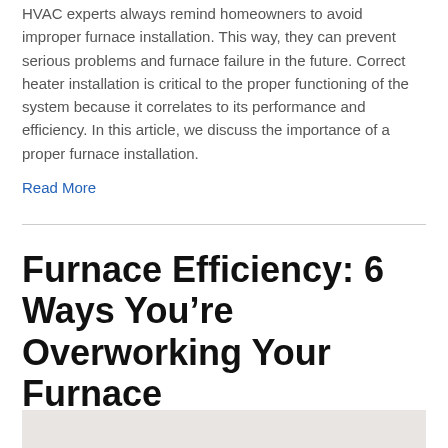HVAC experts always remind homeowners to avoid improper furnace installation. This way, they can prevent serious problems and furnace failure in the future. Correct heater installation is critical to the proper functioning of the system because it correlates to its performance and efficiency. In this article, we discuss the importance of a proper furnace installation.
Read More
Furnace Efficiency: 6 Ways You're Overworking Your Furnace
December 23, 2019
[Figure (photo): Partial view of an image preview at the bottom of the page, showing a light beige/tan colored background, cropped.]